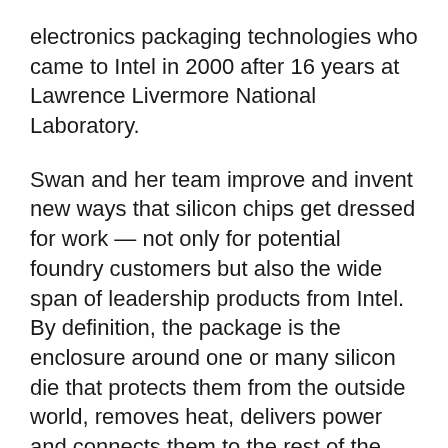electronics packaging technologies who came to Intel in 2000 after 16 years at Lawrence Livermore National Laboratory.
Swan and her team improve and invent new ways that silicon chips get dressed for work — not only for potential foundry customers but also the wide span of leadership products from Intel. By definition, the package is the enclosure around one or many silicon die that protects them from the outside world, removes heat, delivers power and connects them to the rest of the computer.
“Packaging is there to make external connections,” Swan explains, “but at the same time optimize the performance of what’s going on inside, all the way down to the